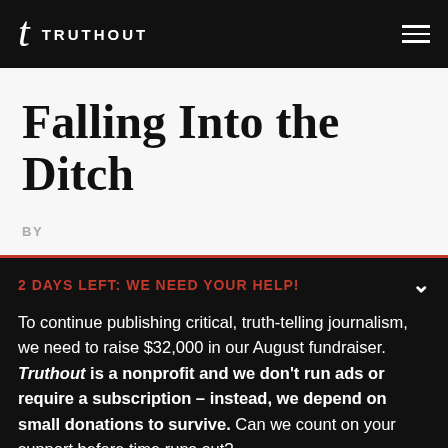TRUTHOUT
Falling Into the Ditch
BY
2 DAYS LEFT: WE NEED YOUR HELP!
To continue publishing critical, truth-telling journalism, we need to raise $32,000 in our August fundraiser. Truthout is a nonprofit and we don't run ads or require a subscription – instead, we depend on small donations to survive. Can we count on your support before time runs out?